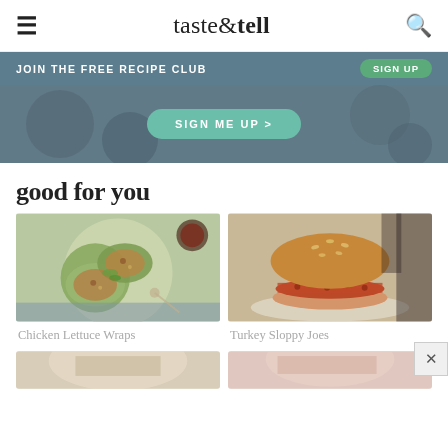taste & tell
JOIN THE FREE RECIPE CLUB   SIGN UP
[Figure (photo): Dark background with a teal 'SIGN ME UP >' button overlay]
good for you
[Figure (photo): Chicken lettuce wraps on a white plate, top-down view]
[Figure (photo): Turkey Sloppy Joes sandwich on a sesame bun]
Chicken Lettuce Wraps
Turkey Sloppy Joes
[Figure (photo): Partial bottom-left food photo, mostly cut off]
[Figure (photo): Partial bottom-right food photo, mostly cut off]